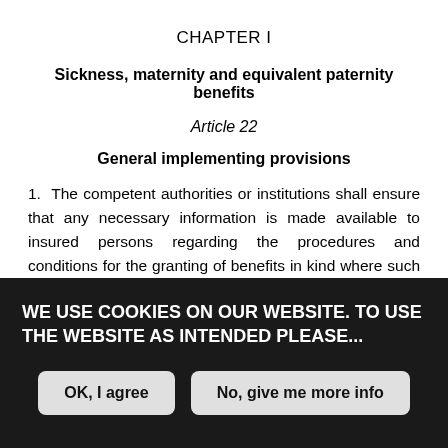CHAPTER I
Sickness, maternity and equivalent paternity benefits
Article 22
General implementing provisions
1.  The competent authorities or institutions shall ensure that any necessary information is made available to insured persons regarding the procedures and conditions for the granting of benefits in kind where such benefits are received in the territory of a Member State other than that of the competent
WE USE COOKIES ON OUR WEBSITE. TO USE THE WEBSITE AS INTENDED PLEASE...
OK, I agree | No, give me more info